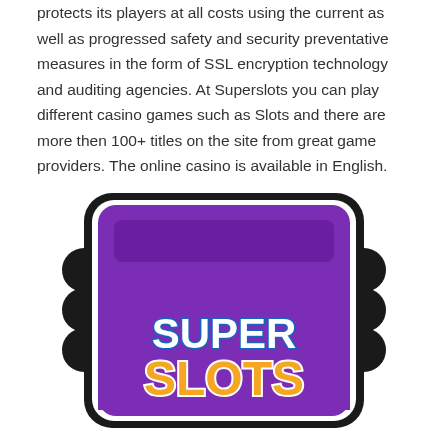protects its players at all costs using the current as well as progressed safety and security preventative measures in the form of SSL encryption technology and auditing agencies. At Superslots you can play different casino games such as Slots and there are more then 100+ titles on the site from great game providers. The online casino is available in English.
[Figure (logo): Super Slots casino logo: a ticket/card shape with black rounded border, purple background, a purple bar at top, and text 'SUPER' in white with blue outline and 'SLOTS' in orange with white outline.]